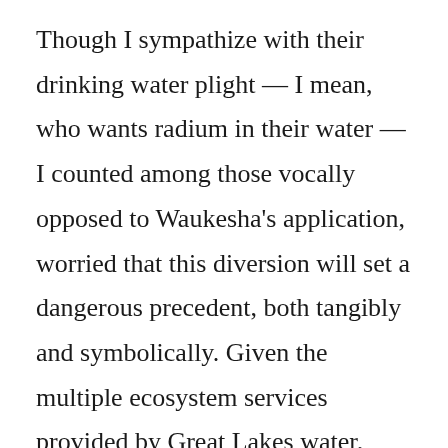Though I sympathize with their drinking water plight — I mean, who wants radium in their water — I counted among those vocally opposed to Waukesha's application, worried that this diversion will set a dangerous precedent, both tangibly and symbolically. Given the multiple ecosystem services provided by Great Lakes water, there is essentially no surplus. And though I think the application should have been denied, I'm more optimistic now because of